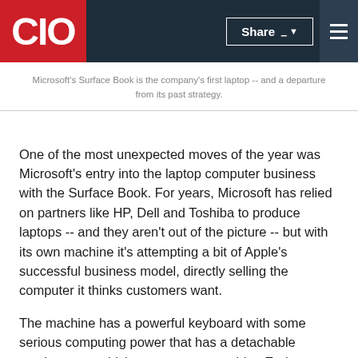CIO
Microsoft's Surface Book is the company's first laptop -- and a departure from its past strategy.
One of the most unexpected moves of the year was Microsoft's entry into the laptop computer business with the Surface Book. For years, Microsoft has relied on partners like HP, Dell and Toshiba to produce laptops -- and they aren't out of the picture -- but with its own machine it's attempting a bit of Apple's successful business model, directly selling the computer it thinks customers want.
The machine has a powerful keyboard with some serious computing power that has a detachable touchscreen, which can serve as a tablet. Early reviews are favorable, and the device is definitely cool. But its premium price and somewhat